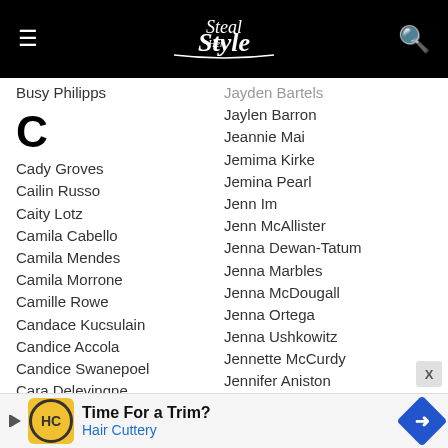Steal Her Style
Busy Philipps
C
Cady Groves
Cailin Russo
Caity Lotz
Camila Cabello
Camila Mendes
Camila Morrone
Camille Rowe
Candace Kucsulain
Candice Accola
Candice Swanepoel
Cara Delevingne
Carah Faye Charnow
Cardi B
Care Bears on Fire
Carla Harvey
Carla Howe
Jayden Bartels
Jaylen Barron
Jeannie Mai
Jemima Kirke
Jemina Pearl
Jenn Im
Jenn McAllister
Jenna Dewan-Tatum
Jenna Marbles
Jenna McDougall
Jenna Ortega
Jenna Ushkowitz
Jennette McCurdy
Jennifer Aniston
Jennifer Hudson
Jennifer Kessy
Jennifer Lawrence
Jennifer Lopez
Jennifer Nettles
Jes
[Figure (infographic): Advertisement banner for Hair Cuttery: Time For a Trim?]